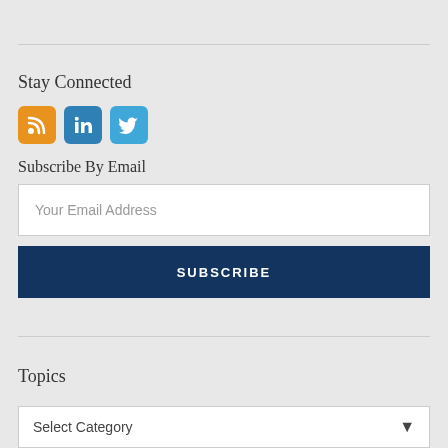Stay Connected
[Figure (illustration): Three social media icon buttons: RSS (orange), LinkedIn (blue), Twitter (light blue)]
Subscribe By Email
Your Email Address
SUBSCRIBE
Topics
Select Category